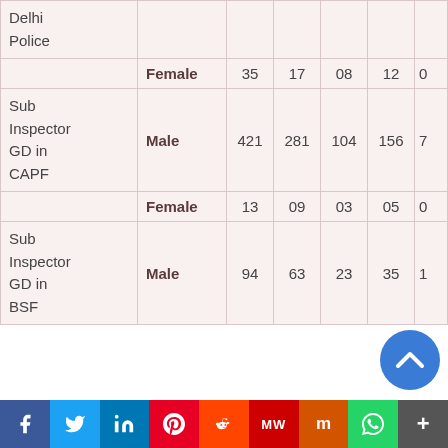| Post | Gender | Col1 | Col2 | Col3 | Col4 | Col5 |
| --- | --- | --- | --- | --- | --- | --- |
| Delhi Police |  |  |  |  |  |  |
|  | Female | 35 | 17 | 08 | 12 | 0 |
| Sub Inspector GD in CAPF | Male | 421 | 281 | 104 | 156 | 7 |
|  | Female | 13 | 09 | 03 | 05 | 0 |
| Sub Inspector GD in BSF | Male | 94 | 63 | 23 | 35 | 1 |